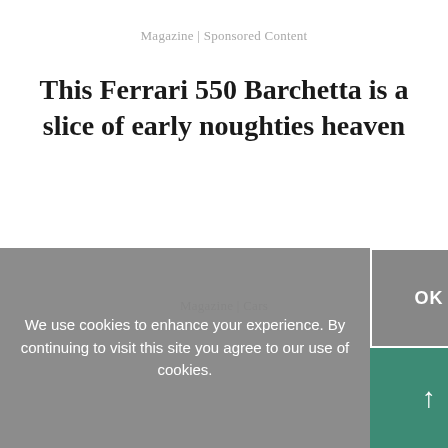Magazine | Sponsored Content
This Ferrari 550 Barchetta is a slice of early noughties heaven
Magazine | Cars
We use cookies to enhance your experience. By continuing to visit this site you agree to our use of cookies.
OK
↑